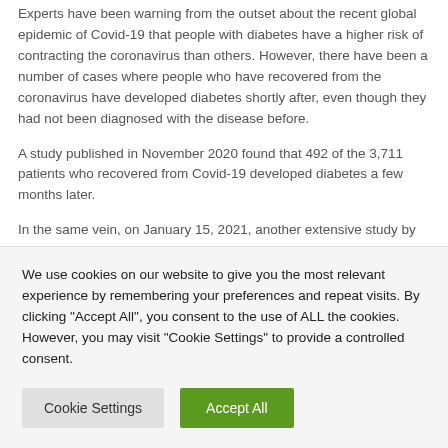Experts have been warning from the outset about the recent global epidemic of Covid-19 that people with diabetes have a higher risk of contracting the coronavirus than others. However, there have been a number of cases where people who have recovered from the coronavirus have developed diabetes shortly after, even though they had not been diagnosed with the disease before.
A study published in November 2020 found that 492 of the 3,711 patients who recovered from Covid-19 developed diabetes a few months later.
In the same vein, on January 15, 2021, another extensive study by
We use cookies on our website to give you the most relevant experience by remembering your preferences and repeat visits. By clicking "Accept All", you consent to the use of ALL the cookies. However, you may visit "Cookie Settings" to provide a controlled consent.